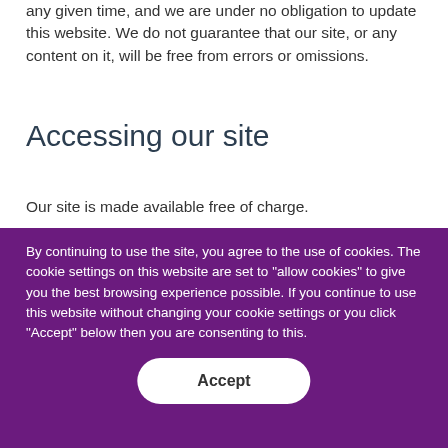any given time, and we are under no obligation to update this website. We do not guarantee that our site, or any content on it, will be free from errors or omissions.
Accessing our site
Our site is made available free of charge.
We do not guarantee that our site, or any content on it, will always be available or be uninterrupted. Access to
By continuing to use the site, you agree to the use of cookies. The cookie settings on this website are set to "allow cookies" to give you the best browsing experience possible. If you continue to use this website without changing your cookie settings or you click "Accept" below then you are consenting to this.
Accept